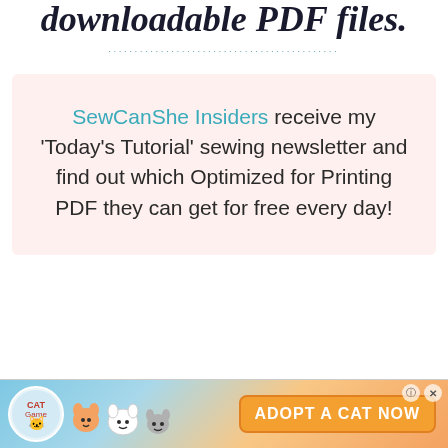downloadable PDF files.
SewCanShe Insiders receive my 'Today's Tutorial' sewing newsletter and find out which Optimized for Printing PDF they can get for free every day!
[Figure (illustration): Advertisement banner for 'Cat Game' mobile app with cartoon cats and 'ADOPT A CAT NOW' call to action button, with close (X) and info (?) controls in top right.]